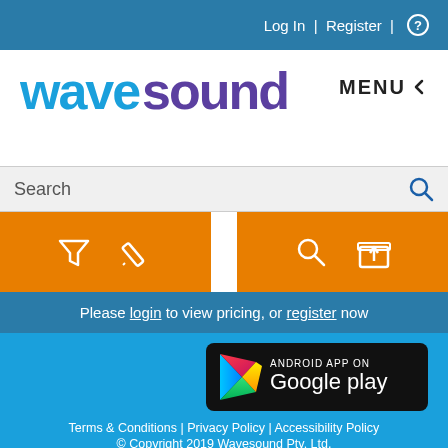Log In  |  Register  | ?
[Figure (logo): Wavesound logo with 'wave' in blue and 'sound' in purple, plus MENU chevron button]
[Figure (screenshot): Search bar with placeholder text 'Search' and blue magnifying glass icon]
[Figure (infographic): Orange icon bar with filter, pencil, magnifying glass, and upload icons on two orange panels]
Please login to view pricing, or register now
[Figure (illustration): Android App on Google Play badge with Google Play triangle logo]
Terms & Conditions | Privacy Policy | Accessibility Policy
© Copyright 2019 Wavesound Pty. Ltd.